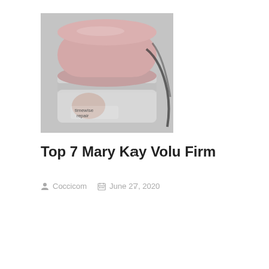[Figure (photo): A Mary Kay TimeWise Repair Volu-Firm skincare jar with a pink lid and silver/chrome base, product label reads 'timewise repair', set against a grey fabric background.]
Top 7 Mary Kay Volu Firm
Coccicom   June 27, 2020